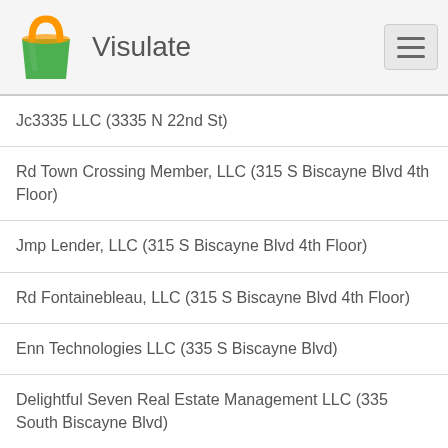Visulate
Jc3335 LLC (3335 N 22nd St)
Rd Town Crossing Member, LLC (315 S Biscayne Blvd 4th Floor)
Jmp Lender, LLC (315 S Biscayne Blvd 4th Floor)
Rd Fontainebleau, LLC (315 S Biscayne Blvd 4th Floor)
Enn Technologies LLC (335 S Biscayne Blvd)
Delightful Seven Real Estate Management LLC (335 South Biscayne Blvd)
Las Americas Associates, LLC (335 South Biscayne Blvd)
Xophia LLC (335 South Biscayne Blvd)
Celina World LLC (335 South Biscayne Blvd)
International Watchmakers (335 South Biscayne Blvd)